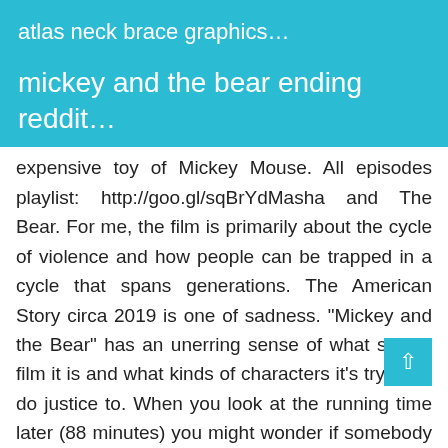atlas neck brace graphics…
mickey and the bear ending reddit…
expensive toy of Mickey Mouse. All episodes playlist: http://goo.gl/sqBrYdMasha and The Bear. For me, the film is primarily about the cycle of violence and how people can be trapped in a cycle that spans generations. The American Story circa 2019 is one of sadness. "Mickey and the Bear" has an unerring sense of what sort of film it is and what kinds of characters it's trying to do justice to. When you look at the running time later (88 minutes) you might wonder if somebody counted it wrong, because the movie feels longer in a good way (it's very efficient). Replicating the beloved theme park in Orlando, Florida this map is a recreation of Walt Disney World's Magic Kingdom Park! This movie was phenomenal. -Mickey goes bear hunting with her dad and love interest. Raya is the titular protagonist of Disney's 2021